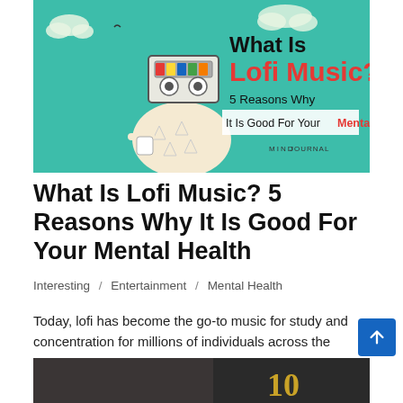[Figure (illustration): Illustrated banner with teal background showing a person with a cassette tape for a head, holding a coffee cup. Text reads 'What Is Lofi Music? 5 Reasons Why It Is Good For Mental Health' with MindJournal branding.]
What Is Lofi Music? 5 Reasons Why It Is Good For Your Mental Health
Interesting / Entertainment / Mental Health
Today, lofi has become the go-to music for study and concentration for millions of individuals across the globe.
[Figure (photo): Partial bottom image showing a dark background with number '10' in gold color.]